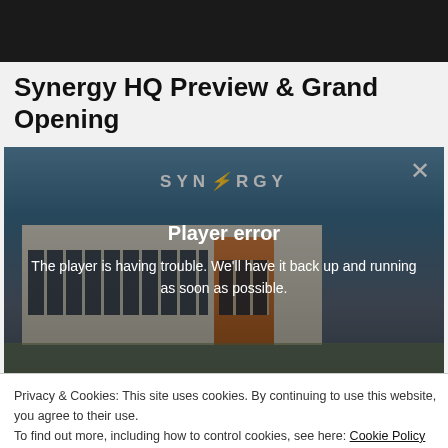[Figure (screenshot): Dark top bar / header area of a webpage]
Synergy HQ Preview & Grand Opening
[Figure (screenshot): Video player showing Synergy HQ building with a 'Player error' overlay message: 'The player is having trouble. We'll have it back up and running as soon as possible.' A close X button is in the top right corner.]
Privacy & Cookies: This site uses cookies. By continuing to use this website, you agree to their use.
To find out more, including how to control cookies, see here: Cookie Policy
Close and accept
S